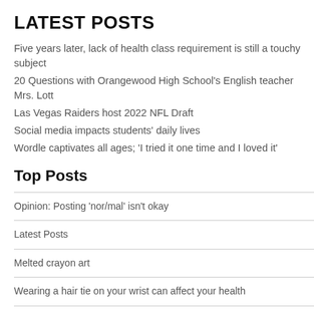LATEST POSTS
Five years later, lack of health class requirement is still a touchy subject
20 Questions with Orangewood High School's English teacher Mrs. Lott
Las Vegas Raiders host 2022 NFL Draft
Social media impacts students' daily lives
Wordle captivates all ages; 'I tried it one time and I loved it'
Top Posts
Opinion: Posting 'nor/mal' isn't okay
Latest Posts
Melted crayon art
Wearing a hair tie on your wrist can affect your health
Part 1 of 2: A reflection on rapper XXXTentacion's life